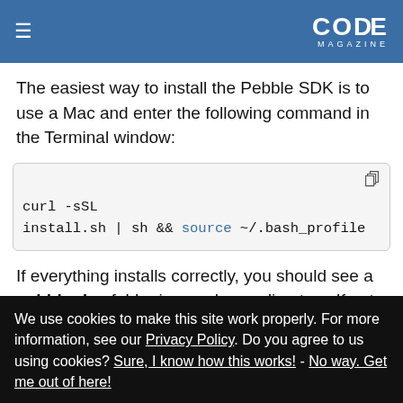CODE MAGAZINE
The easiest way to install the Pebble SDK is to use a Mac and enter the following command in the Terminal window:
curl -sSL install.sh | sh && source ~/.bash_profile
If everything installs correctly, you should see a pebble-dev folder in your home directory. If not,
We use cookies to make this site work properly. For more information, see our Privacy Policy. Do you agree to us using cookies? Sure, I know how this works! - No way. Get me out of here!